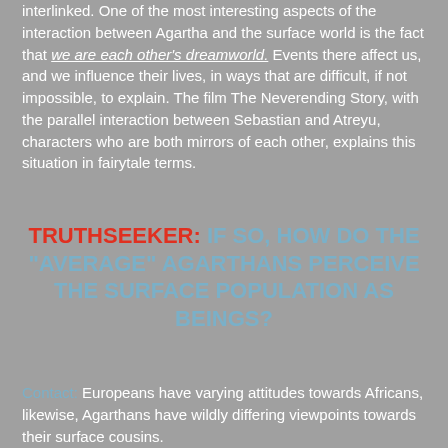interlinked. One of the most interesting aspects of the interaction between Agartha and the surface world is the fact that we are each other's dreamworld. Events there affect us, and we influence their lives, in ways that are difficult, if not impossible, to explain. The film The Neverending Story, with the parallel interaction between Sebastian and Atreyu, characters who are both mirrors of each other, explains this situation in fairytale terms.
TRUTHSEEKER: IF SO, HOW DO THE "AVERAGE" AGARTHANS PERCEIVE THE SURFACE POPULATION AS BEINGS?
Contact: Europeans have varying attitudes towards Africans, likewise, Agarthans have wildly differing viewpoints towards their surface cousins.